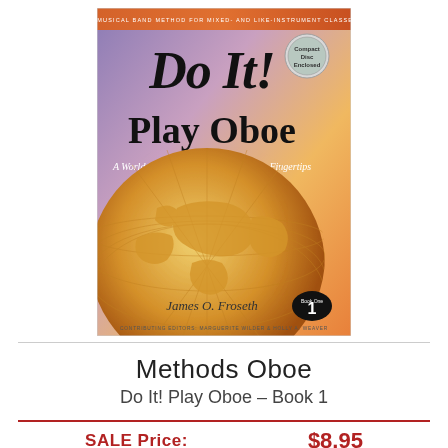[Figure (illustration): Book cover of 'Do It! Play Oboe – Book 1' by James O. Froseth. Orange/gold banner at top reads 'A MUSICAL BAND METHOD FOR MIXED- AND LIKE-INSTRUMENT CLASSES'. Gradient background from purple-blue to orange-gold. Large italic title 'Do It!' in black, then 'Play Oboe' in black script. Subtitle 'A World of Musical Enjoyment at Your Fingertips' in italic white. Golden globe graphic in lower half. Author name 'James O. Froseth' at bottom. 'Book One 1' badge in black oval. Small 'Compact Disc Enclosed' badge top right. Contributing editors noted at very bottom.]
Methods Oboe
Do It! Play Oboe – Book 1
SALE Price:
$8.95